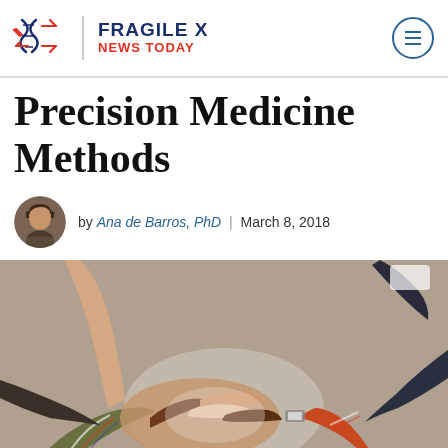FRAGILE X NEWS TODAY
Precision Medicine Methods
by Ana de Barros, PhD | March 8, 2018
[Figure (photo): Group of diverse people putting their hands together in a circle from above, collaborative team gesture, variety of skin tones and clothing visible.]